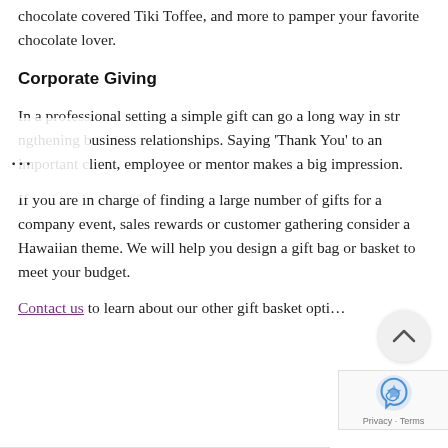chocolate covered Tiki Toffee, and more to pamper your favorite chocolate lover.
Corporate Giving
In a professional setting a simple gift can go a long way in strengthening business relationships. Saying ‘Thank You’ to an important client, employee or mentor makes a big impression.
If you are in charge of finding a large number of gifts for a company event, sales rewards or customer gathering consider a Hawaiian theme. We will help you design a gift bag or basket to meet your budget.
Contact us to learn about our other gift basket opti…